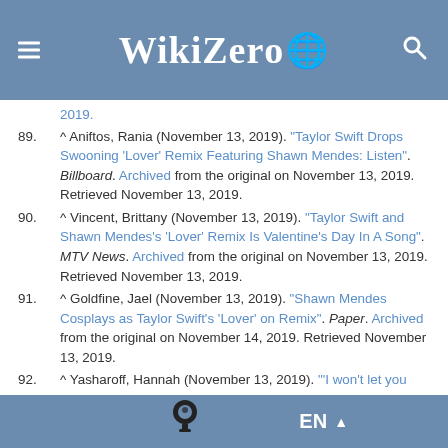WikiZero
2019.
89. ^ Aniftos, Rania (November 13, 2019). "Taylor Swift Drops Swooning 'Lover' Remix Featuring Shawn Mendes: Listen". Billboard. Archived from the original on November 13, 2019. Retrieved November 13, 2019.
90. ^ Vincent, Brittany (November 13, 2019). "Taylor Swift and Shawn Mendes's 'Lover' Remix Is Valentine's Day In A Song". MTV News. Archived from the original on November 13, 2019. Retrieved November 13, 2019.
91. ^ Goldfine, Jael (November 13, 2019). "Shawn Mendes Cosplays as Taylor Swift's 'Lover' on Remix". Paper. Archived from the original on November 14, 2019. Retrieved November 13, 2019.
92. ^ Yasharoff, Hannah (November 13, 2019). "'I won't let you fall': Taylor Swift, Shawn Mendes debut dreamy new lyrics in 'Lover' remix". USA Today. Archived from the original on November 14, 2019. Retrieved
EN